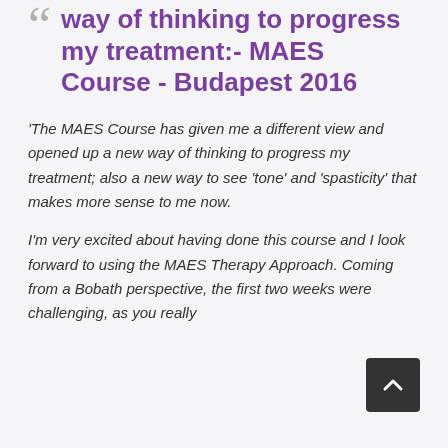way of thinking to progress my treatment:- MAES Course - Budapest 2016
'The MAES Course has given me a different view and opened up a new way of thinking to progress my treatment; also a new way to see 'tone' and 'spasticity' that makes more sense to me now.
I'm very excited about having done this course and I look forward to using the MAES Therapy Approach. Coming from a Bobath perspective, the first two weeks were challenging, as you really